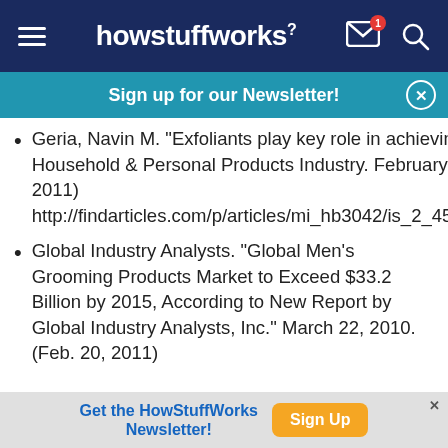howstuffworks
Sign up for our Newsletter!
Geria, Navin M. "Exfoliants play key role in achieving healthy skin." Household & Personal Products Industry. February 2008. (Feb. 20, 2011) http://findarticles.com/p/articles/mi_hb3042/is_2_45/ai_n29412853/
Global Industry Analysts. "Global Men's Grooming Products Market to Exceed $33.2 Billion by 2015, According to New Report by Global Industry Analysts, Inc." March 22, 2010. (Feb. 20, 2011)
Get the HowStuffWorks Newsletter! Sign Up